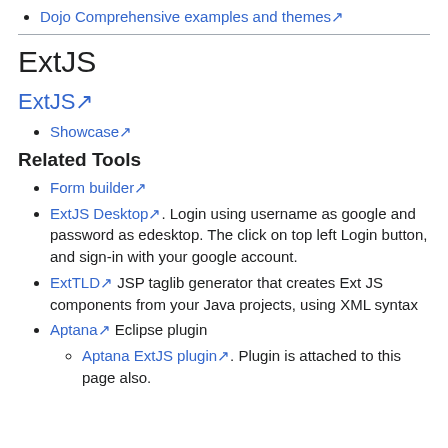Dojo Comprehensive examples and themes↗
ExtJS
ExtJS↗
Showcase↗
Related Tools
Form builder↗
ExtJS Desktop↗. Login using username as google and password as edesktop. The click on top left Login button, and sign-in with your google account.
ExtTLD↗ JSP taglib generator that creates Ext JS components from your Java projects, using XML syntax
Aptana↗ Eclipse plugin
Aptana ExtJS plugin↗. Plugin is attached to this page also.